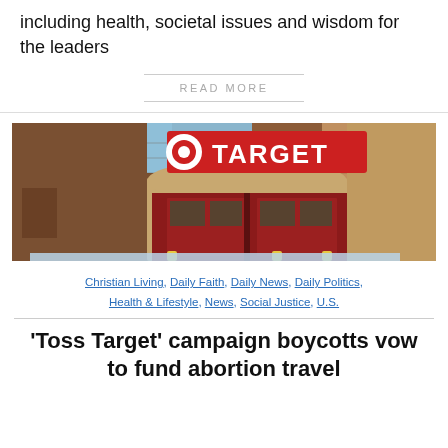including health, societal issues and wisdom for the leaders
READ MORE
[Figure (photo): Exterior of a Target retail store with red TARGET sign, brick facade, and arched red entrance doors]
Christian Living, Daily Faith, Daily News, Daily Politics, Health & Lifestyle, News, Social Justice, U.S.
‘Toss Target’ campaign boycotts vow to fund abortion travel